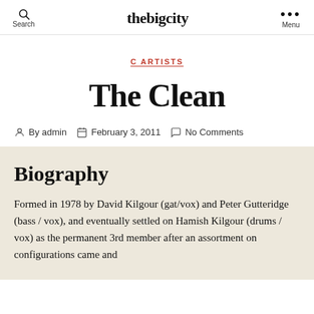thebigcity
C ARTISTS
The Clean
By admin   February 3, 2011   No Comments
Biography
Formed in 1978 by David Kilgour (gat/vox) and Peter Gutteridge (bass / vox), and eventually settled on Hamish Kilgour (drums / vox) as the permanent 3rd member after an assortment on configurations came and